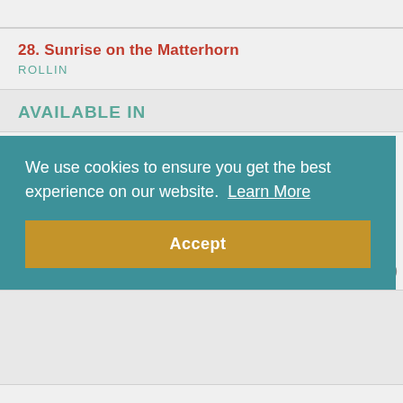28. Sunrise on the Matterhorn
ROLLIN
AVAILABLE IN
[Figure (photo): Book cover with purple/violet color and a red corner 'Bulk Discount' badge. The right side shows diagonal coiled/striped material.]
We use cookies to ensure you get the best experience on our website.  Learn More
Accept